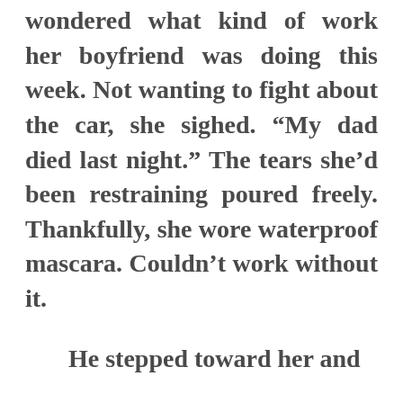wondered what kind of work her boyfriend was doing this week. Not wanting to fight about the car, she sighed. “My dad died last night.” The tears she’d been restraining poured freely. Thankfully, she wore waterproof mascara. Couldn’t work without it.
He stepped toward her and